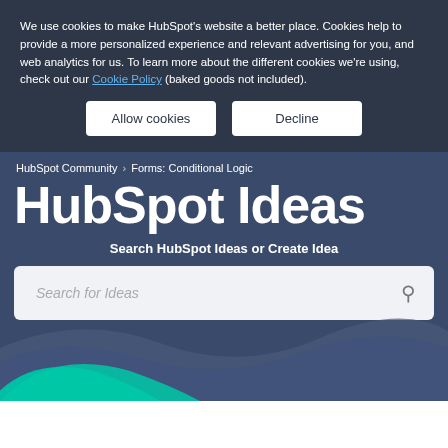We use cookies to make HubSpot's website a better place. Cookies help to provide a more personalized experience and relevant advertising for you, and web analytics for us. To learn more about the different cookies we're using, check out our Cookie Policy (baked goods not included).
Allow cookies
Decline
HubSpot Community > Forms: Conditional Logic
HubSpot Ideas
Search HubSpot Ideas or Create Idea
Search for Ideas
[Figure (illustration): Decorative wave shapes in teal, slate blue, and dark blue at the bottom of the page]